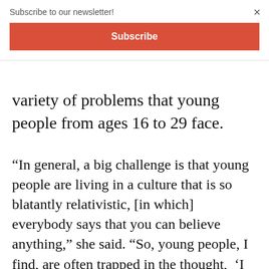Subscribe to our newsletter!
Subscribe
variety of problems that young people from ages 16 to 29 face.
“In general, a big challenge is that young people are living in a culture that is so blatantly relativistic, [in which] everybody says that you can believe anything,” she said. “So, young people, I find, are often trapped in the thought,  ‘I don’t know what I’m supposed to believe.’”